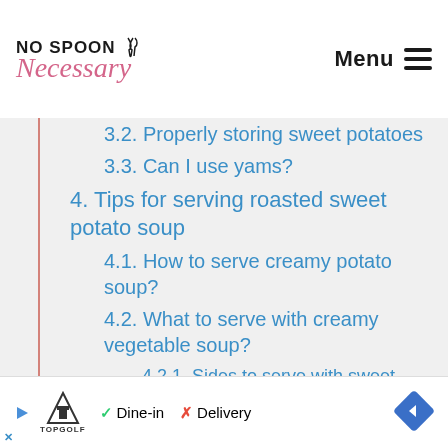No Spoon Necessary | Menu
3.2. Properly storing sweet potatoes
3.3. Can I use yams?
4. Tips for serving roasted sweet potato soup
4.1. How to serve creamy potato soup?
4.2. What to serve with creamy vegetable soup?
4.2.1. Sides to serve with sweet potato bisque
5. How to make sweet potato
Dine-in  Delivery — TopGolf ad